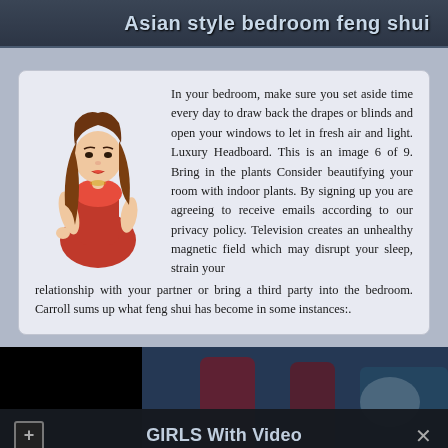Asian style bedroom feng shui
In your bedroom, make sure you set aside time every day to draw back the drapes or blinds and open your windows to let in fresh air and light. Luxury Headboard. This is an image 6 of 9. Bring in the plants Consider beautifying your room with indoor plants. By signing up you are agreeing to receive emails according to our privacy policy. Television creates an unhealthy magnetic field which may disrupt your sleep, strain your relationship with your partner or bring a third party into the bedroom. Carroll sums up what feng shui has become in some instances:.
[Figure (illustration): Illustrated cartoon woman in red dress with long brown hair]
[Figure (screenshot): Video player showing blurred chairs with red and blue upholstery, black rectangle on left. Popup overlay with plus button, title GIRLS With Video, close X button, and SHOW ME button]